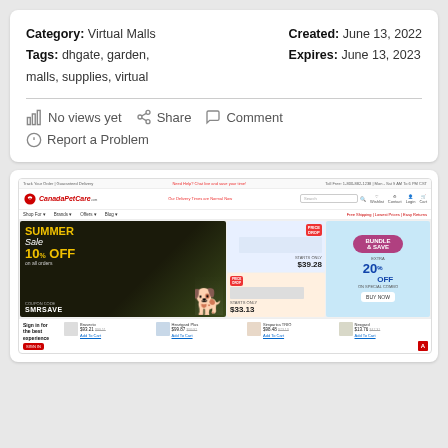Category: Virtual Malls
Tags: dhgate, garden, malls, supplies, virtual
Created: June 13, 2022
Expires: June 13, 2023
No views yet
Share
Comment
Report a Problem
[Figure (screenshot): Screenshot of CanadaPetCare.com website showing Summer Sale with 10% OFF coupon code SMRSAVE, NexGard product starting at $39.28, a Price Drop item at $33.13, and a Bundle & Save 20% OFF section. Bottom shows Sign in for the best experience button and product listings.]